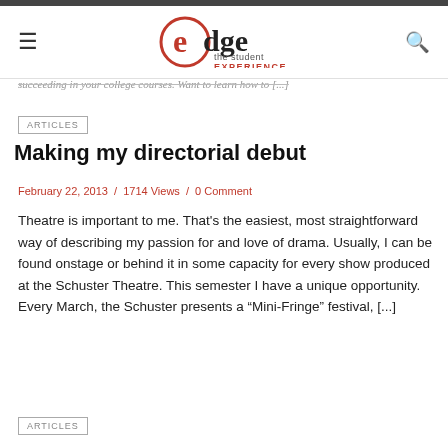edge the student EXPERIENCE
succeeding in your college courses. Want to learn how to [...]
ARTICLES
Making my directorial debut
February 22, 2013 / 1714 Views / 0 Comment
Theatre is important to me. That's the easiest, most straightforward way of describing my passion for and love of drama. Usually, I can be found onstage or behind it in some capacity for every show produced at the Schuster Theatre. This semester I have a unique opportunity. Every March, the Schuster presents a “Mini-Fringe” festival, [...]
ARTICLES